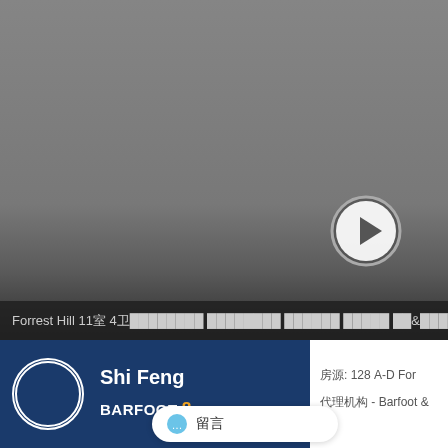[Figure (screenshot): Video player showing a real estate property video for Forrest Hill 11室 4卫, with a gray video thumbnail and a play button overlay. Below is an agent profile section with Shi Feng from Barfoot & Thompson, and a white panel on the right with listing details. A chat bubble overlay is visible at the bottom.]
Forrest Hill 11室 4卫████████ ████████ ██████ █████ ██&█████ █████████ M
Shi Feng
[Figure (logo): Barfoot & Thompson logo in white text with orange ampersand]
房源: 128 A-D For
代理机构 - Barfoot &
留言